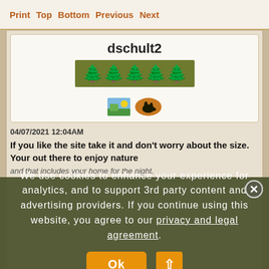Print Top Bottom Previous Next
[Figure (screenshot): User profile card showing username 'dschult2', a row of orange tree icons on a green background (rank indicator), and two badge icons below]
04/07/2021 12:04AM
If you like the site take it and don't worry about the size. Your out there to enjoy nature
and that includes your home for the night.
We use cookies to enhance your experience for analytics, and to support 3rd party content and advertising providers. If you continue using this website, you agree to our privacy and legal agreement. Ok